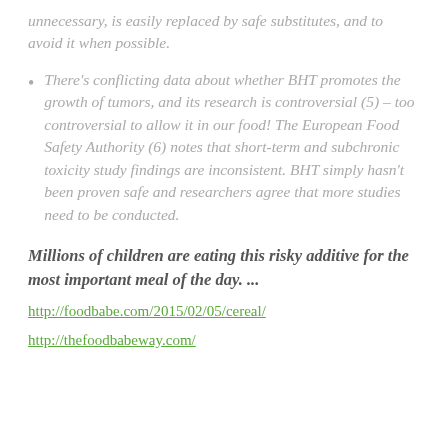unnecessary, is easily replaced by safe substitutes, and to avoid it when possible.
There's conflicting data about whether BHT promotes the growth of tumors, and its research is controversial (5) – too controversial to allow it in our food! The European Food Safety Authority (6) notes that short-term and subchronic toxicity study findings are inconsistent. BHT simply hasn't been proven safe and researchers agree that more studies need to be conducted.
Millions of children are eating this risky additive for the most important meal of the day. ...
http://foodbabe.com/2015/02/05/cereal/
http://thefoodbabeway.com/